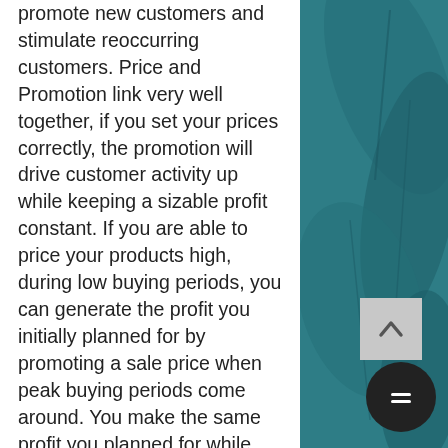promote new customers and stimulate reoccurring customers. Price and Promotion link very well together, if you set your prices correctly, the promotion will drive customer activity up while keeping a sizable profit constant. If you are able to price your products high, during low buying periods, you can generate the profit you initially planned for by promoting a sale price when peak buying periods come around. You make the same profit you planned for while incentivizing the sale for the customer, everyone loves a good sale right? None of the above will mean anything if you do not already have a good solid product to bring to market. Of course the product design is top
[Figure (other): Teal/dark cyan decorative background panel on the right side of the page, appearing to show an abstract or botanical close-up image.]